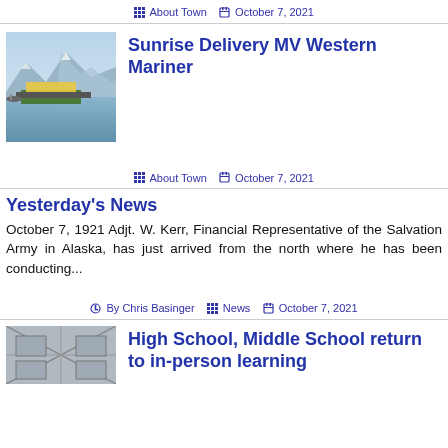About Town   October 7, 2021
[Figure (photo): Sunrise delivery barge MV Western Mariner on calm water with mountains in background]
Sunrise Delivery MV Western Mariner
About Town   October 7, 2021
Yesterday's News
October 7, 1921 Adjt. W. Kerr, Financial Representative of the Salvation Army in Alaska, has just arrived from the north where he has been conducting...
By Chris Basinger   News   October 7, 2021
[Figure (photo): Interior of high school or middle school building]
High School, Middle School return to in-person learning